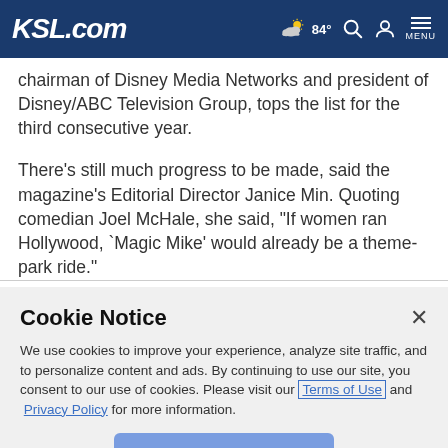KSL.com | 84° | Search | Account | MENU
chairman of Disney Media Networks and president of Disney/ABC Television Group, tops the list for the third consecutive year.
There's still much progress to be made, said the magazine's Editorial Director Janice Min. Quoting comedian Joel McHale, she said, "If women ran Hollywood, `Magic Mike' would already be a theme-park ride."
Cookie Notice
We use cookies to improve your experience, analyze site traffic, and to personalize content and ads. By continuing to use our site, you consent to our use of cookies. Please visit our Terms of Use and Privacy Policy for more information.
Continue